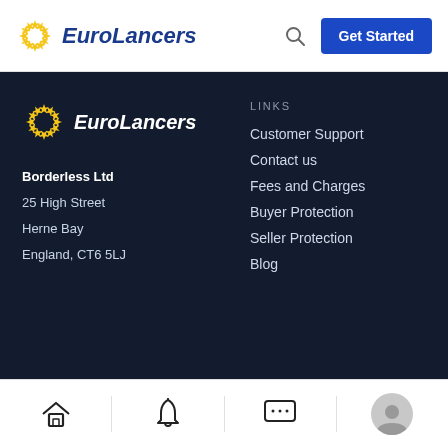EuroLancers
[Figure (logo): EuroLancers logo with EU star circle and italic bold text in dark blue]
Borderless Ltd
25 High Street
Herne Bay
England, CT6 5LJ
LINKS
Customer Support
Contact us
Fees and Charges
Buyer Protection
Seller Protection
Blog
Bottom navigation bar with Home, Notification, Chat, and Profile icons